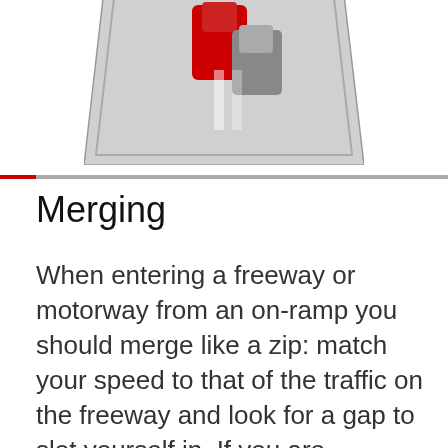[Figure (illustration): A road sign (yield or merge sign) depicted in grayscale with red markings, partially cropped at top of page]
Merging
When entering a freeway or motorway from an on-ramp you should merge like a zip: match your speed to that of the traffic on the freeway and look for a gap to slot yourself in. If you are following other vehicles onto the freeway don't force yourself into the line of traffic. Merge one-by-one, allowing other vehicles on the freeway enough time to adjust their position. If you try to merge more slowly than the cars on the freeway you create a dangerous situation as vehicles on the freeway will need to brake to adjust to your speed. This increases the risk